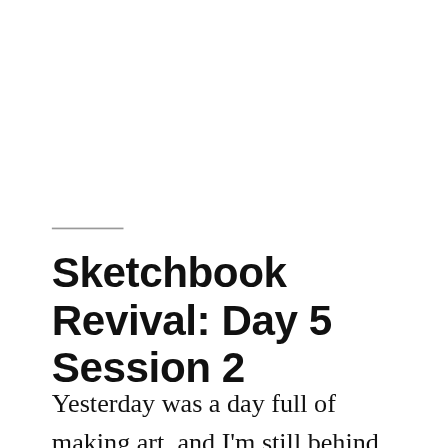Sketchbook Revival: Day 5 Session 2
Yesterday was a day full of making art, and I'm still behind. That is wonderful!
The marvelous fact about registering for Sketchbook Revival is the flexibility of the